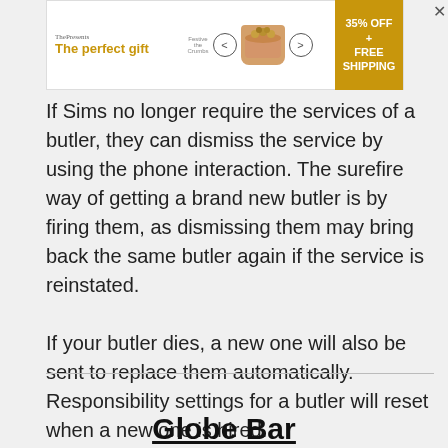[Figure (other): Advertisement banner: 'The perfect gift' with bowl of snacks image, navigation arrows, and '35% OFF + FREE SHIPPING' badge in gold.]
If Sims no longer require the services of a butler, they can dismiss the service by using the phone interaction. The surefire way of getting a brand new butler is by firing them, as dismissing them may bring back the same butler again if the service is reinstated.
If your butler dies, a new one will also be sent to replace them automatically. Responsibility settings for a butler will reset when a new one is hired.
Globe Bar